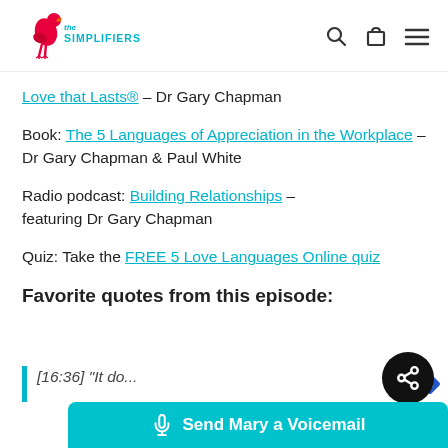[Figure (logo): The Simplifiers logo with red flamingo and teal text]
Love that Lasts® – Dr Gary Chapman
Book: The 5 Languages of Appreciation in the Workplace – Dr Gary Chapman & Paul White
Radio podcast: Building Relationships – featuring Dr Gary Chapman
Quiz: Take the FREE 5 Love Languages Online quiz
Favorite quotes from this episode:
[16:36] "It do...